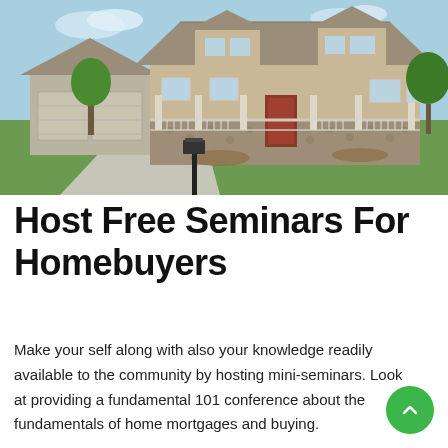[Figure (photo): Photograph of a suburban single-family home with stone and siding exterior, front porch with white railings, attached garage, green lawn, mulched landscaping, and a black mailbox post in the foreground under a blue sky.]
Host Free Seminars For Homebuyers
Make your self along with also your knowledge readily available to the community by hosting mini-seminars. Look at providing a fundamental 101 conference about the fundamentals of home mortgages and buying.